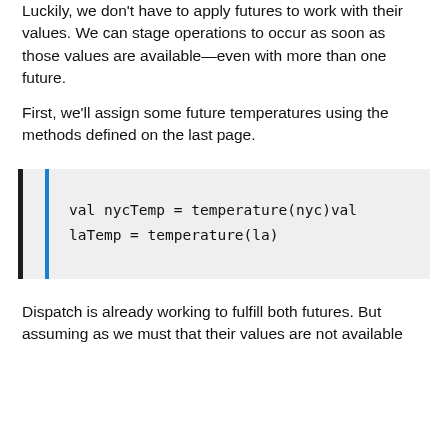Luckily, we don't have to apply futures to work with their values. We can stage operations to occur as soon as those values are available—even with more than one future.
First, we'll assign some future temperatures using the methods defined on the last page.
[Figure (other): Code block with blue left border on gray background showing: val nycTemp = temperature(nyc)val laTemp = temperature(la)]
Dispatch is already working to fulfill both futures. But assuming as we must that their values are not available